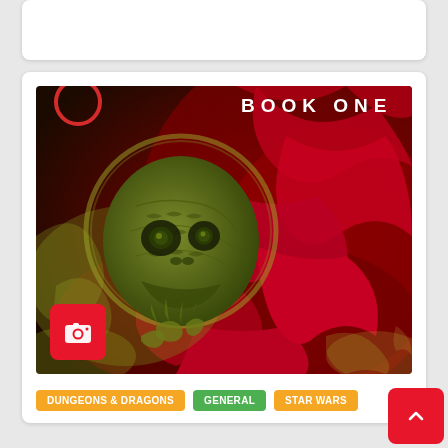[Figure (illustration): Book cover art showing a creature with a reptilian/skull-like face wearing a dark green scaly mask, draped in red flowing fabric, with yellow-green smoke swirling around. Text 'BOOK ONE' in white letters at the top right. A red camera icon button overlaid at the bottom left.]
DUNGEONS & DRAGONS
GENERAL
STAR WARS